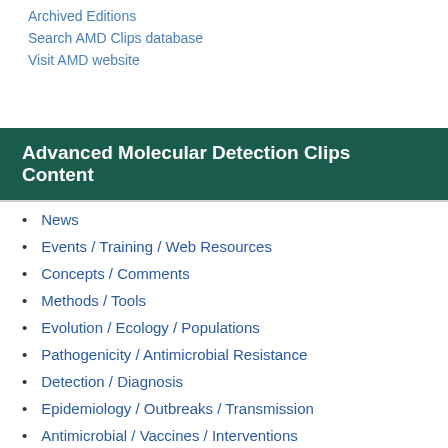Archived Editions
Search AMD Clips database
Visit AMD website
Advanced Molecular Detection Clips Content
News
Events / Training / Web Resources
Concepts / Comments
Methods / Tools
Evolution / Ecology / Populations
Pathogenicity / Antimicrobial Resistance
Detection / Diagnosis
Epidemiology / Outbreaks / Transmission
Antimicrobial / Vaccines / Interventions